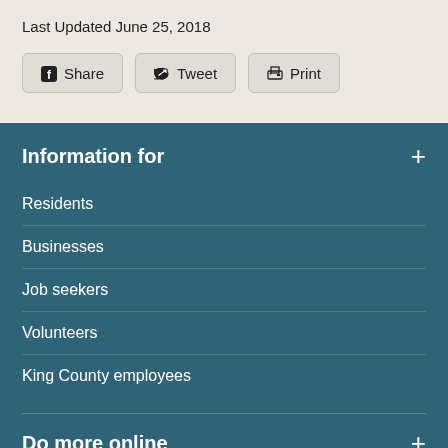Last Updated June 25, 2018
[Figure (other): Row of three buttons: Share (Facebook icon), Tweet (Twitter icon), Print (printer icon)]
Information for
Residents
Businesses
Job seekers
Volunteers
King County employees
Do more online
Trip Planner